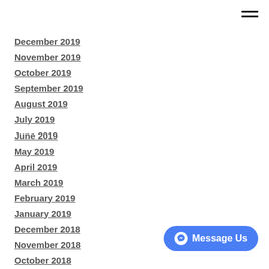December 2019
November 2019
October 2019
September 2019
August 2019
July 2019
June 2019
May 2019
April 2019
March 2019
February 2019
January 2019
December 2018
November 2018
October 2018
September 2018